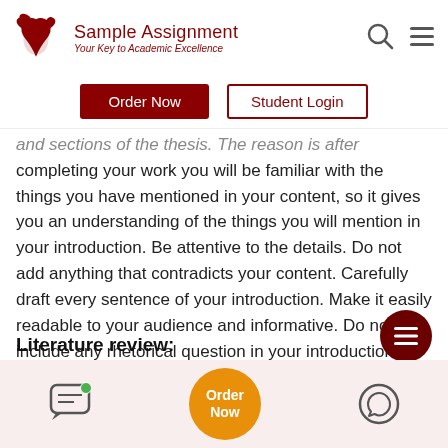Sample Assignment — Your Key to Academic Excellence
Order Now | Student Login
and sections of the thesis. The reason is after completing your work you will be familiar with the things you have mentioned in your content, so it gives you an understanding of the things you will mention in your introduction. Be attentive to the details. Do not add anything that contradicts your content. Carefully draft every sentence of your introduction. Make it easily readable to your audience and informative. Do not include any rhetorical question in your introduction because your research is not artistic work. Keep the suspense until the conclusion section.
Literature review:
Order Now